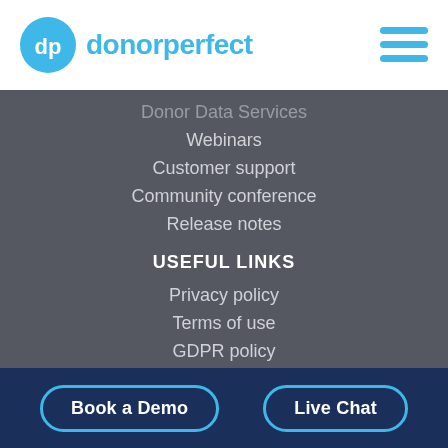dp donorperfect
Donor Data Services
Webinars
Customer support
Community conference
Release notes
USEFUL LINKS
Privacy policy
Terms of use
GDPR policy
Careers
Sales: 1-800-220-8111
Book a Demo    Live Chat